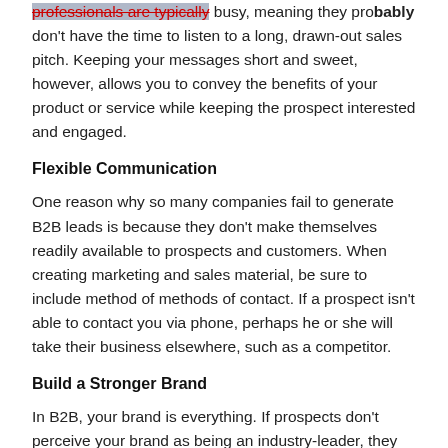professionals are typically busy, meaning they probably don't have the time to listen to a long, drawn-out sales pitch. Keeping your messages short and sweet, however, allows you to convey the benefits of your product or service while keeping the prospect interested and engaged.
Flexible Communication
One reason why so many companies fail to generate B2B leads is because they don't make themselves readily available to prospects and customers. When creating marketing and sales material, be sure to include method of methods of contact. If a prospect isn't able to contact you via phone, perhaps he or she will take their business elsewhere, such as a competitor.
Build a Stronger Brand
In B2B, your brand is everything. If prospects don't perceive your brand as being an industry-leader, they probably won't buy